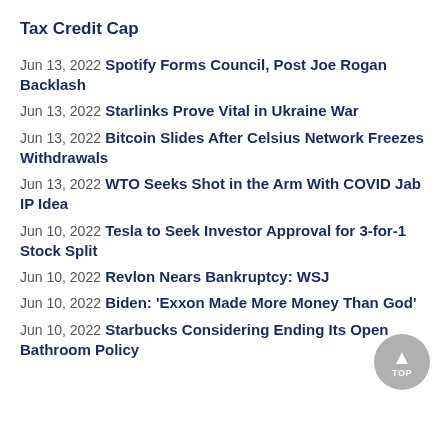Tax Credit Cap
Jun 13, 2022 Spotify Forms Council, Post Joe Rogan Backlash
Jun 13, 2022 Starlinks Prove Vital in Ukraine War
Jun 13, 2022 Bitcoin Slides After Celsius Network Freezes Withdrawals
Jun 13, 2022 WTO Seeks Shot in the Arm With COVID Jab IP Idea
Jun 10, 2022 Tesla to Seek Investor Approval for 3-for-1 Stock Split
Jun 10, 2022 Revlon Nears Bankruptcy: WSJ
Jun 10, 2022 Biden: 'Exxon Made More Money Than God'
Jun 10, 2022 Starbucks Considering Ending Its Open Bathroom Policy